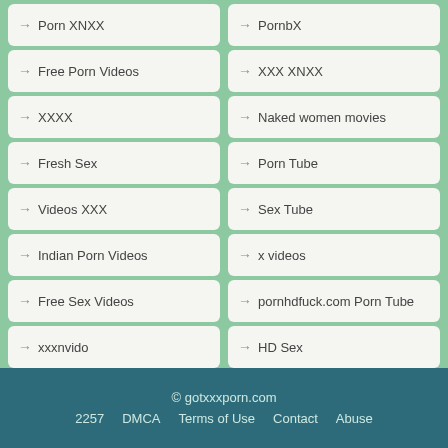→ Porn XNXX
→ PornbX
→ Free Porn Videos
→ XXX XNXX
→ XXXX
→ Naked women movies
→ Fresh Sex
→ Porn Tube
→ Videos XXX
→ Sex Tube
→ Indian Porn Videos
→ x videos
→ Free Sex Videos
→ pornhdfuck.com Porn Tube
→ xxxnvido
→ HD Sex
→ tube porno sex
→ HD Fuck Porn Videos
→ Porn Videos
→ www.freebeegtube.com
→ Indian Sex Video
→ XXX Adult Tube
© gotxxxporn.com  2257  DMCA  Terms of Use  Contact  Abuse